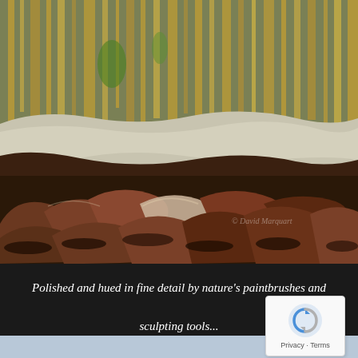[Figure (photo): Close-up nature photograph of polished and textured rocks with earthy tones of brown, rust, and dark volcanic stone in the foreground, with lighter stone and golden-green reflective streaks in the background suggesting water or foliage.]
Polished and hued in fine detail by nature's paintbrushes and sculpting tools...